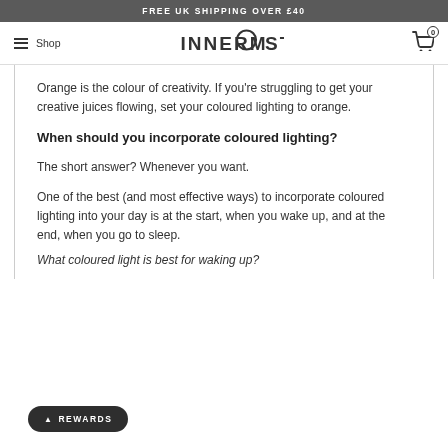FREE UK SHIPPING OVER £40
INNERMOST — Shop — Cart (0)
Orange is the colour of creativity. If you're struggling to get your creative juices flowing, set your coloured lighting to orange.
When should you incorporate coloured lighting?
The short answer? Whenever you want.
One of the best (and most effective ways) to incorporate coloured lighting into your day is at the start, when you wake up, and at the end, when you go to sleep.
What coloured light is best for waking up?